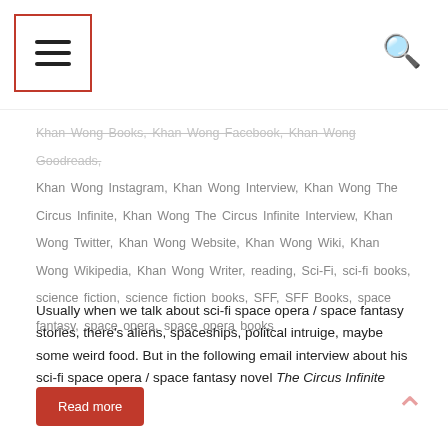[Hamburger menu icon] [Search icon]
Khan Wong Books, Khan Wong Facebook, Khan Wong Goodreads, Khan Wong Instagram, Khan Wong Interview, Khan Wong The Circus Infinite, Khan Wong The Circus Infinite Interview, Khan Wong Twitter, Khan Wong Website, Khan Wong Wiki, Khan Wong Wikipedia, Khan Wong Writer, reading, Sci-Fi, sci-fi books, science fiction, science fiction books, SFF, SFF Books, space fantasy, space opera, space opera books
Usually when we talk about sci-fi space opera / space fantasy stories, there's aliens, spaceships, politcal intruige, maybe some weird food. But in the following email interview about his sci-fi space opera / space fantasy novel The Circus Infinite ...CONTINUE
Read more